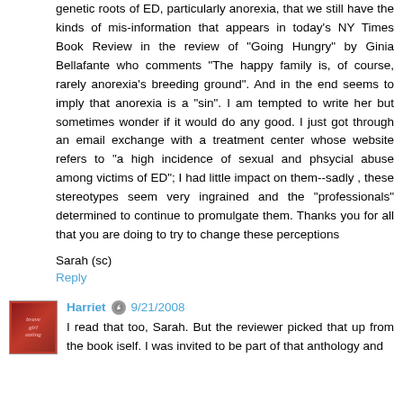genetic roots of ED, particularly anorexia, that we still have the kinds of mis-information that appears in today's NY Times Book Review in the review of "Going Hungry" by Ginia Bellafante who comments "The happy family is, of course, rarely anorexia's breeding ground". And in the end seems to imply that anorexia is a "sin". I am tempted to write her but sometimes wonder if it would do any good. I just got through an email exchange with a treatment center whose website refers to "a high incidence of sexual and phsycial abuse among victims of ED"; I had little impact on them--sadly , these stereotypes seem very ingrained and the "professionals" determined to continue to promulgate them. Thanks you for all that you are doing to try to change these perceptions
Sarah (sc)
Reply
Harriet 9/21/2008
I read that too, Sarah. But the reviewer picked that up from the book itself. I was invited to be part of that anthology and